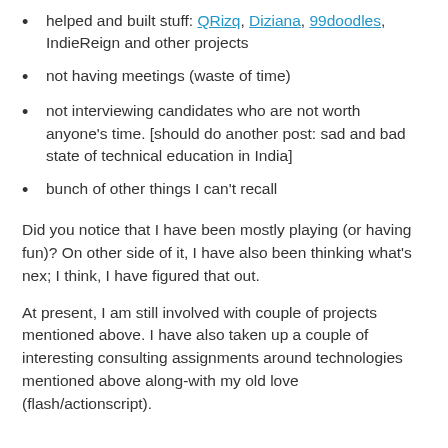helped and built stuff: QRizq, Diziana, 99doodles, IndieReign and other projects
not having meetings (waste of time)
not interviewing candidates who are not worth anyone's time. [should do another post: sad and bad state of technical education in India]
bunch of other things I can't recall
Did you notice that I have been mostly playing (or having fun)? On other side of it, I have also been thinking what's nex; I think, I have figured that out.
At present, I am still involved with couple of projects mentioned above. I have also taken up a couple of interesting consulting assignments around technologies mentioned above along-with my old love (flash/actionscript).